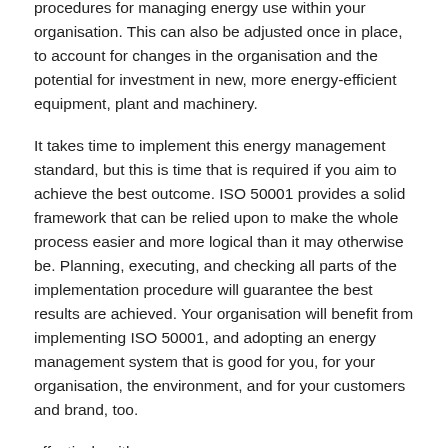procedures for managing energy use within your organisation. This can also be adjusted once in place, to account for changes in the organisation and the potential for investment in new, more energy-efficient equipment, plant and machinery.
It takes time to implement this energy management standard, but this is time that is required if you aim to achieve the best outcome. ISO 50001 provides a solid framework that can be relied upon to make the whole process easier and more logical than it may otherwise be. Planning, executing, and checking all parts of the implementation procedure will guarantee the best results are achieved. Your organisation will benefit from implementing ISO 50001, and adopting an energy management system that is good for you, for your organisation, the environment, and for your customers and brand, too.
effectively with